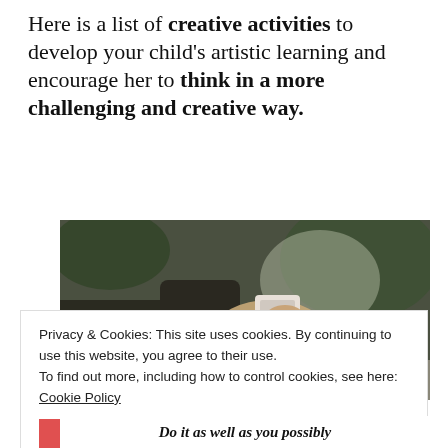Here is a list of creative activities to develop your child's artistic learning and encourage her to think in a more challenging and creative way.
[Figure (photo): Close-up photo of a person's hand holding a small book or card against a blurred outdoor background]
Privacy & Cookies: This site uses cookies. By continuing to use this website, you agree to their use. To find out more, including how to control cookies, see here: Cookie Policy
CLOSE AND ACCEPT
Do it as well as you possibly